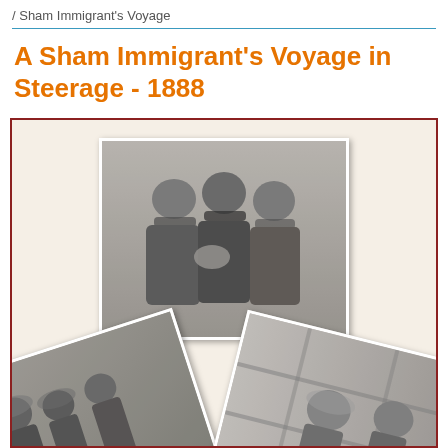/ Sham Immigrant's Voyage
A Sham Immigrant's Voyage in Steerage - 1888
[Figure (photo): A collage of three historical black-and-white photographs. The top center photo shows three young immigrants in caps, appearing to examine something in their hands. The bottom-left photo (tilted) shows a group of immigrants including women with headscarves in a crowded steerage setting. The bottom-right photo (tilted opposite direction) shows immigrants resting or sitting in what appears to be bunks or seating in steerage quarters.]